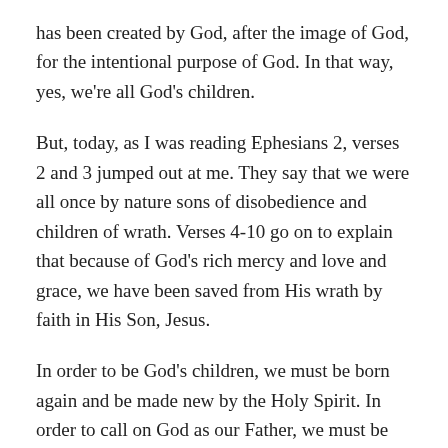has been created by God, after the image of God, for the intentional purpose of God. In that way, yes, we're all God's children.
But, today, as I was reading Ephesians 2, verses 2 and 3 jumped out at me. They say that we were all once by nature sons of disobedience and children of wrath. Verses 4-10 go on to explain that because of God's rich mercy and love and grace, we have been saved from His wrath by faith in His Son, Jesus.
In order to be God's children, we must be born again and be made new by the Holy Spirit. In order to call on God as our Father, we must be adopted as His sons and daughters.
I pray that today, as Children's Day is being celebrated on the other side of the globe, you will call out to your Creator,